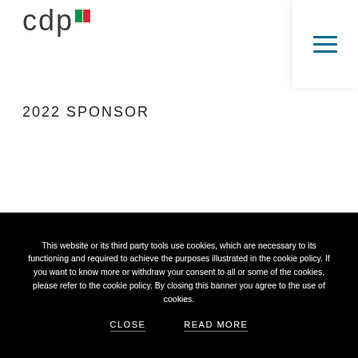[Figure (logo): CDP logo with Italian flag colors (green and red rectangles) and lowercase letters 'cdp' in gray]
[Figure (other): Hamburger menu icon with three horizontal blue lines on white background]
2022 SPONSOR
MEDIA PARTNER
This website or its third party tools use cookies, which are necessary to its functioning and required to achieve the purposes illustrated in the cookie policy. If you want to know more or withdraw your consent to all or some of the cookies, please refer to the cookie policy. By closing this banner you agree to the use of cookies.
CLOSE
READ MORE